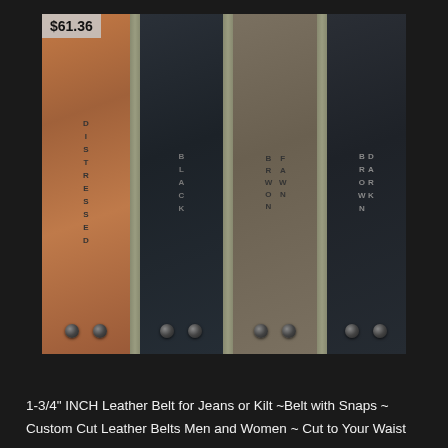[Figure (photo): Four leather belts displayed vertically side by side showing color options: Distressed (tan/brown), Black, Fawn Brown, and Dark Brown. Each belt has two metal snaps at the bottom and vertical text labels. Price tag shows $61.36 in upper left corner.]
1-3/4" INCH Leather Belt for Jeans or Kilt ~Belt with Snaps ~ Custom Cut Leather Belts Men and Women ~ Cut to Your Waist